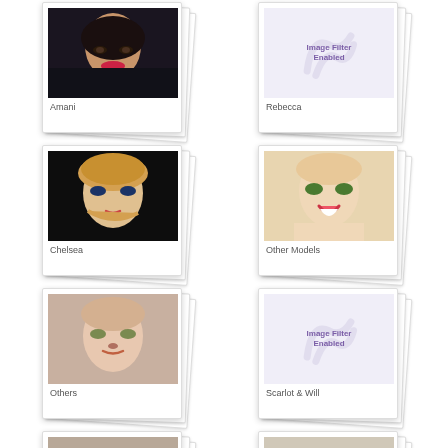[Figure (photo): Polaroid-style photo card of Amani - woman with dark hair and red lipstick]
[Figure (other): Polaroid-style card with Image Filter Enabled placeholder for Rebecca]
[Figure (photo): Polaroid-style photo card of Chelsea - blonde woman with colorful eye makeup]
[Figure (photo): Polaroid-style photo card of Other Models - smiling blonde woman]
[Figure (photo): Polaroid-style photo card of Others - blonde woman with pink eye makeup]
[Figure (other): Polaroid-style card with Image Filter Enabled placeholder for Scarlot & Will]
[Figure (photo): Partial view of two more polaroid cards at bottom, cut off]